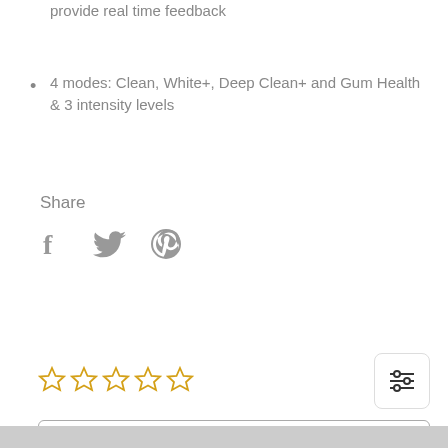with the appropriate brushing mode and smart sensors provide real time feedback
4 modes: Clean, White+, Deep Clean+ and Gum Health & 3 intensity levels
Share
[Figure (illustration): Social share icons: Facebook (f), Twitter (bird), Pinterest (p) in gray]
[Figure (illustration): Five empty star rating icons in gold/yellow outline]
[Figure (illustration): Filter/settings button icon with three horizontal sliders]
Write a review
Be the first to write a review
[Figure (illustration): Dark circular chat bubble / messenger icon]
Arabic (dropdown language selector with Jordan flag)